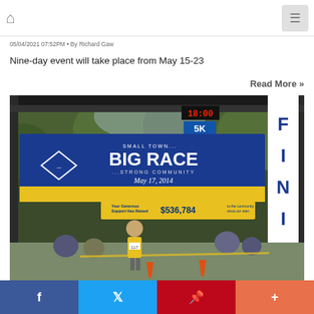Home navigation and menu button
05/04/2021 07:52PM • By Richard Gaw
Nine-day event will take place from May 15-23
Read More »
[Figure (photo): Finish line of a 5K race with a blue and yellow banner reading 'Small Town... Big Race ...Strong Community May 17, 2014' and '$536,784' raised. A runner in a yellow vest crosses the finish line. Trees in background, orange cones, spectators visible.]
Social sharing bar with Facebook, Twitter, Pinterest, and More buttons